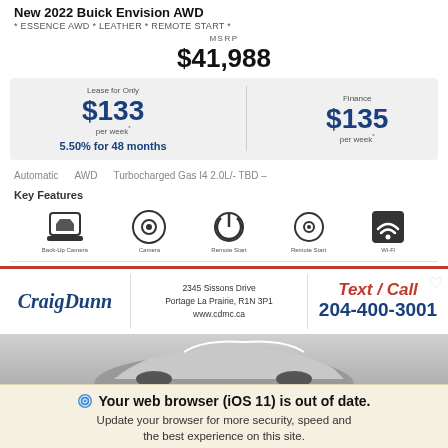New 2022 Buick Envision AWD
* ESSENCE AWD * LEATHER * REMOTE START *
MSRP $41,988
Lease for Only $133 per week* 5.50% for 48 months
Finance $135 per week*
Automatic   AWD   Turbocharged Gas I4 2.0L/- TBD –
Key Features
[Figure (infographic): Key feature icons: Back-Up Camera, Camera, Remote Start, Remote Start, Wi-Fi]
[Figure (infographic): Craig Dunn dealer advertisement with logo, address (2345 Sissons Drive, Portage La Prairie, R1N 3P1, www.cdmc.ca), and Text/Call 204-400-3001]
[Figure (photo): Partial view of a Buick Envision AWD vehicle in grey/silver color]
Your web browser (iOS 11) is out of date. Update your browser for more security, speed and the best experience on this site.
Update browser   Ignore